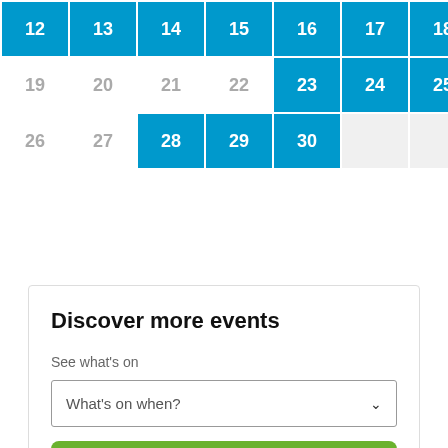| 12 | 13 | 14 | 15 | 16 | 17 | 18 |
| --- | --- | --- | --- | --- | --- | --- |
| 19 | 20 | 21 | 22 | 23 | 24 | 25 |
| 26 | 27 | 28 | 29 | 30 |  |  |
Discover more events
See what's on
What's on when?
Go
Places to go
What's on where?